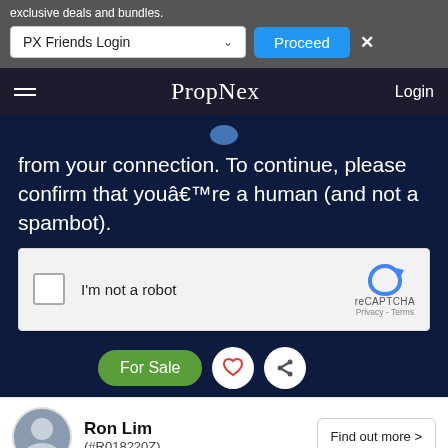exclusive deals and bundles.
PX Friends Login
Proceed
PropNex   Login
from your connection. To continue, please confirm that youâ€™re a human (and not a spambot).
[Figure (screenshot): reCAPTCHA widget with checkbox labeled 'I'm not a robot' and reCAPTCHA logo with Privacy - Terms links]
For Sale
Ron Lim
(#R018220Z)
Find out more >